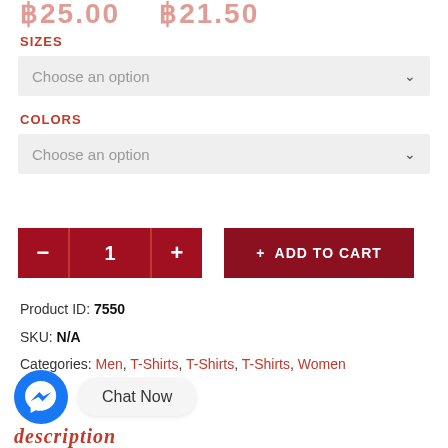฿25.00  ฿21.50
SIZES
Choose an option
COLORS
Choose an option
− 1 +   + ADD TO CART
Product ID: 7550
SKU: N/A
Categories: Men, T-Shirts, T-Shirts, T-Shirts, Women
[Figure (other): Facebook Messenger chat button with Chat Now label]
Description